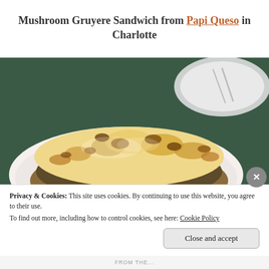Mushroom Gruyere Sandwich from Papi Queso in Charlotte
[Figure (photo): Close-up photo of a Mushroom Gruyere Sandwich on a white oval plate on a dark green table, with melted golden-brown cheese on top, and a white plate with cutlery in the background.]
Privacy & Cookies: This site uses cookies. By continuing to use this website, you agree to their use.
To find out more, including how to control cookies, see here: Cookie Policy
Close and accept